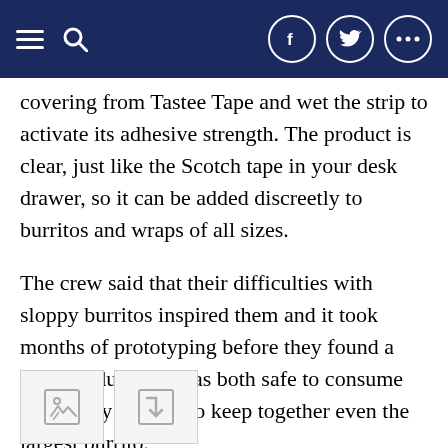Navigation bar with hamburger menu, search icon, Facebook, Twitter, and more options icons
covering from Tastee Tape and wet the strip to activate its adhesive strength. The product is clear, just like the Scotch tape in your desk drawer, so it can be added discreetly to burritos and wraps of all sizes.
The crew said that their difficulties with sloppy burritos inspired them and it took months of prototyping before they found a final product that was both safe to consume and sturdy enough to keep together even the largest burrito.
Tastee Tape allows you to trust your tortilla and enjoy your meal mess-free by first learning about the science behind tapes and different adhesives, and then working to find edible alternatives," Guarino explained.